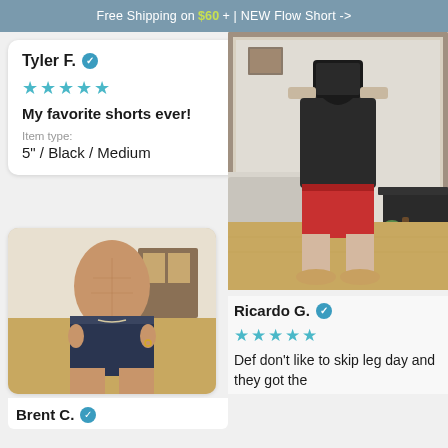Free Shipping on $60 + | NEW Flow Short ->
Tyler F. ✓
★★★★★
My favorite shorts ever!
Item type:
5" / Black / Medium
[Figure (photo): Man wearing navy shorts, shirtless, showing abs and pulling waistband, indoor setting]
[Figure (photo): Man in mirror selfie wearing black shirt and red shorts with tan loafers, living room background]
Brent C. ✓
Ricardo G. ✓
★★★★★
Def don't like to skip leg day and they got the